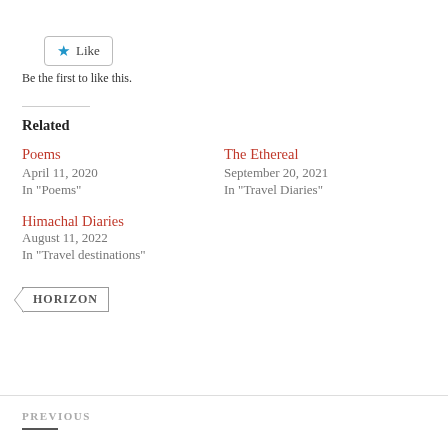[Figure (other): Like button with blue star icon and 'Like' text]
Be the first to like this.
Related
Poems
April 11, 2020
In "Poems"
The Ethereal
September 20, 2021
In "Travel Diaries"
Himachal Diaries
August 11, 2022
In "Travel destinations"
HORIZON
PREVIOUS